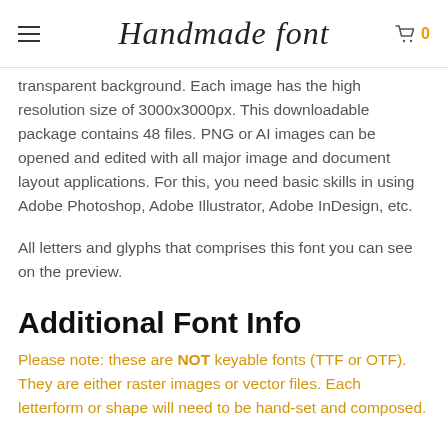Handmade font
transparent background. Each image has the high resolution size of 3000x3000px. This downloadable package contains 48 files. PNG or AI images can be opened and edited with all major image and document layout applications. For this, you need basic skills in using Adobe Photoshop, Adobe Illustrator, Adobe InDesign, etc.
All letters and glyphs that comprises this font you can see on the preview.
Additional Font Info
Please note: these are NOT keyable fonts (TTF or OTF). They are either raster images or vector files. Each letterform or shape will need to be hand-set and composed.